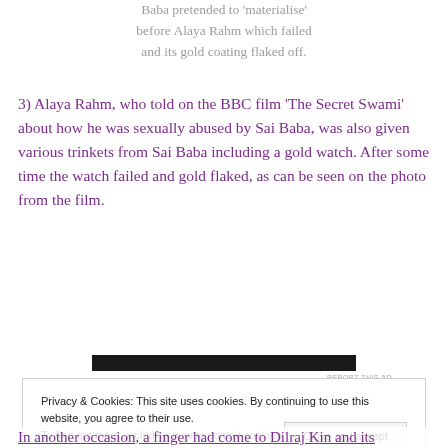Baba pretended to 'materialise' before Alaya Rahm which failed and its gold coating flaked off.
3) Alaya Rahm, who told on the BBC film 'The Secret Swami' about how he was sexually abused by Sai Baba, was also given various trinkets from Sai Baba including a gold watch. After some time the watch failed and gold flaked, as can be seen on the photo from the film.
[Figure (other): Dark advertisement banner bar]
REPORT THIS AD
Privacy & Cookies: This site uses cookies. By continuing to use this website, you agree to their use.
To find out more, including how to control cookies, see here: Cookie Policy
In another occasion, a finger had come to Dilraj Kin and its